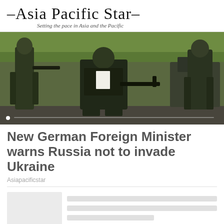–Asia Pacific Star– Setting the pace in Asia and the Pacific
[Figure (photo): Soldiers in military gear and camouflage outdoors, one kneeling holding a rifle, others standing, with military vehicle in background]
New German Foreign Minister warns Russia not to invade Ukraine
Asiapacificstar
[Figure (infographic): Skeleton placeholder card with thumbnail and text lines (related article card 1)]
[Figure (infographic): Skeleton placeholder card with thumbnail and text lines (related article card 2)]